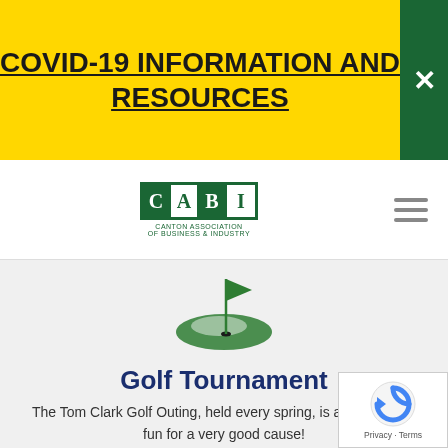COVID-19 INFORMATION AND RESOURCES
[Figure (logo): CABI Canton Association of Business & Industry logo with green bordered letter boxes]
[Figure (illustration): Green golf hole with flag icon on grey background]
Golf Tournament
The Tom Clark Golf Outing, held every spring, is a whole lot of fun for a very good cause!